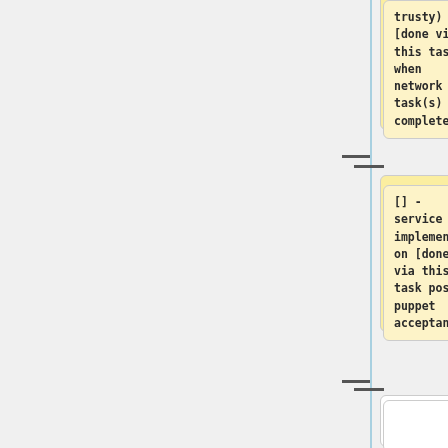[Figure (flowchart): Flowchart diagram showing two yellow highlighted task boxes connected by a vertical line with horizontal connectors (minus signs). Top box contains 'trusty) [done via this task when network sub-task(s) complete]'. Middle box contains '[] - service implementation [done via this task post puppet acceptance]'. Below are two white empty boxes and two grey boxes with text '=== Requested -> Spare & Requested'.]